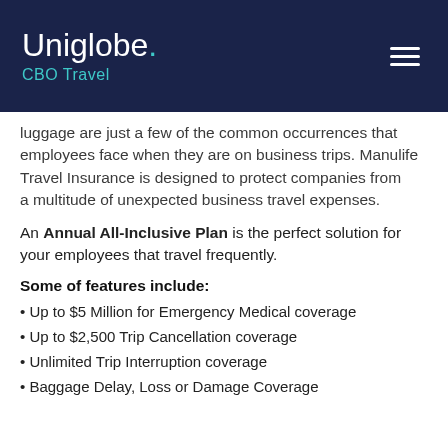Uniglobe. CBO Travel
luggage are just a few of the common occurrences that employees face when they are on business trips. Manulife Travel Insurance is designed to protect companies from a multitude of unexpected business travel expenses.
An Annual All-Inclusive Plan is the perfect solution for your employees that travel frequently.
Some of features include:
Up to $5 Million for Emergency Medical coverage
Up to $2,500 Trip Cancellation coverage
Unlimited Trip Interruption coverage
Baggage Delay, Loss or Damage Coverage